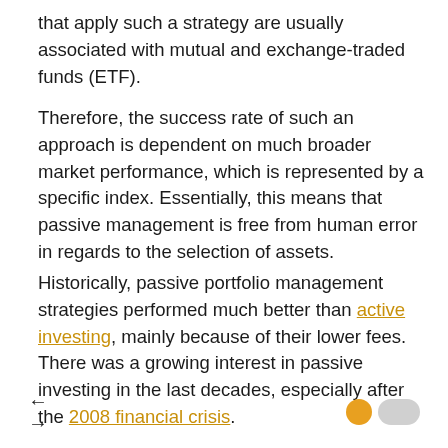that apply such a strategy are usually associated with mutual and exchange-traded funds (ETF).
Therefore, the success rate of such an approach is dependent on much broader market performance, which is represented by a specific index. Essentially, this means that passive management is free from human error in regards to the selection of assets.
Historically, passive portfolio management strategies performed much better than active investing, mainly because of their lower fees. There was a growing interest in passive investing in the last decades, especially after the 2008 financial crisis.
← → navigation arrows and toggle